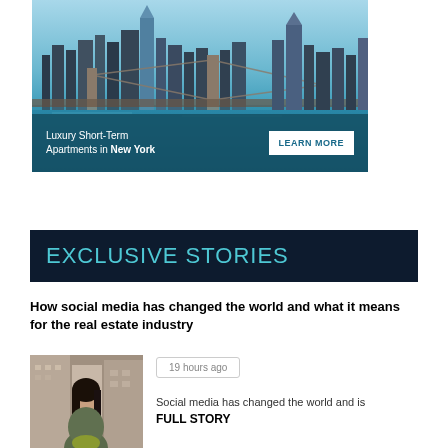[Figure (photo): Advertisement banner showing New York City skyline with Brooklyn Bridge and blue sky, with teal overlay bar at bottom reading 'Luxury Short-Term Apartments in New York' and a 'LEARN MORE' button]
EXCLUSIVE STORIES
How social media has changed the world and what it means for the real estate industry
[Figure (photo): Photo of a young woman with dark hair standing in front of urban buildings]
19 hours ago
Social media has changed the world and is FULL STORY